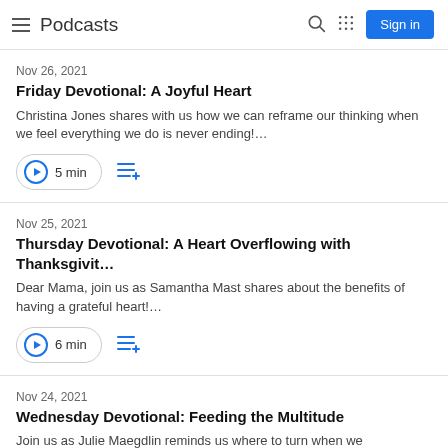Podcasts
Nov 26, 2021
Friday Devotional: A Joyful Heart
Christina Jones shares with us how we can reframe our thinking when we feel everything we do is never ending!…
5 min
Nov 25, 2021
Thursday Devotional: A Heart Overflowing with Thanksgivit…
Dear Mama, join us as Samantha Mast shares about the benefits of having a grateful heart!…
6 min
Nov 24, 2021
Wednesday Devotional: Feeding the Multitude
Join us as Julie Maegdlin reminds us where to turn when we